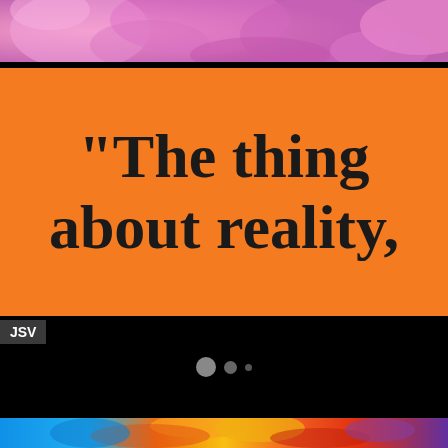[Figure (illustration): Top portion showing colorful pink and purple floral/abstract painted background]
"The thing about reality,
JSV
[Figure (other): Black video player area with three dots (loading indicator) in the center]
[Figure (illustration): Bottom strip showing colorful butterfly painting with orange, yellow and blue colors]